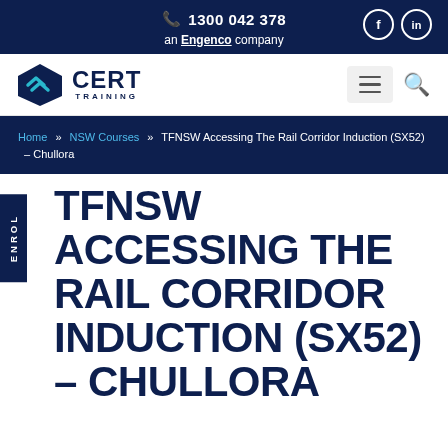1300 042 378   an Engenco company
[Figure (logo): CERT Training logo with angular shield graphic in teal and navy]
Home » NSW Courses » TFNSW Accessing The Rail Corridor Induction (SX52) – Chullora
TFNSW ACCESSING THE RAIL CORRIDOR INDUCTION (SX52) – CHULLORA